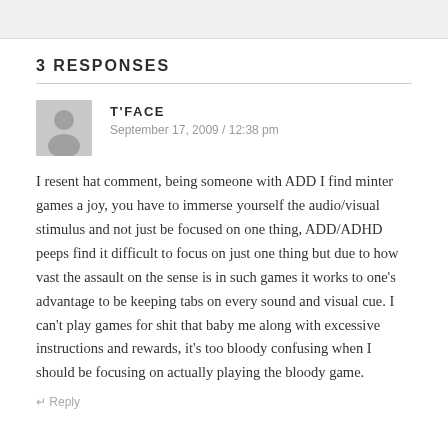3 RESPONSES
T'FACE
September 17, 2009 / 12:38 pm
I resent hat comment, being someone with ADD I find minter games a joy, you have to immerse yourself the audio/visual stimulus and not just be focused on one thing, ADD/ADHD peeps find it difficult to focus on just one thing but due to how vast the assault on the sense is in such games it works to one’s advantage to be keeping tabs on every sound and visual cue. I can’t play games for shit that baby me along with excessive instructions and rewards, it’s too bloody confusing when I should be focusing on actually playing the bloody game.